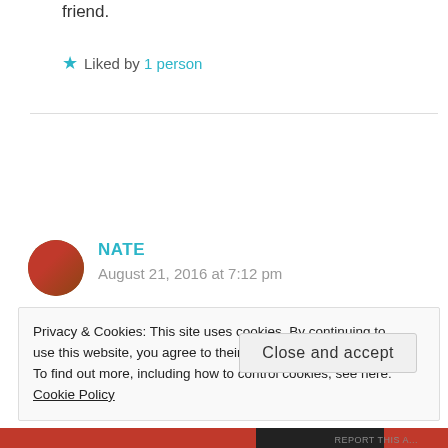friend.
★ Liked by 1 person
NATE
August 21, 2016 at 7:12 pm
Privacy & Cookies: This site uses cookies. By continuing to use this website, you agree to their use.
To find out more, including how to control cookies, see here: Cookie Policy
Close and accept